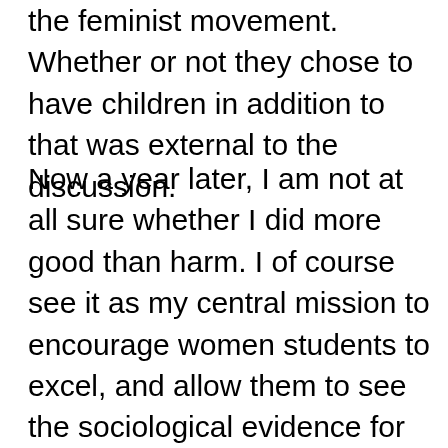the feminist movement. Whether or not they chose to have children in addition to that was external to the discussion.
Now a year later, I am not at all sure whether I did more good than harm. I of course see it as my central mission to encourage women students to excel, and allow them to see the sociological evidence for the continuing oppression of women in patriarchal culture. And, I certainly want to model for my students that my life — a world of reading books, watching movies, and writing about them — is exemplary of how being happy and productive is more deeply rewarding than the status quo messages they often receive from parents, churches, and other apparatuses of conformity. However, a recent episode of the Oxygen cable network's sit-com, Campus Ladies, has me thinking about that day in my feminism class in particular, and more generally about the pitiful status of university